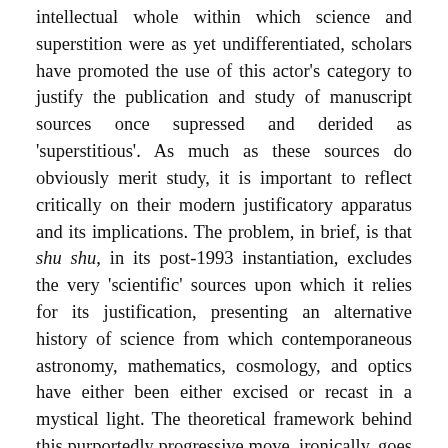intellectual whole within which science and superstition were as yet undifferentiated, scholars have promoted the use of this actor's category to justify the publication and study of manuscript sources once supressed and derided as 'superstitious'. As much as these sources do obviously merit study, it is important to reflect critically on their modern justificatory apparatus and its implications. The problem, in brief, is that shu shu, in its post-1993 instantiation, excludes the very 'scientific' sources upon which it relies for its justification, presenting an alternative history of science from which contemporaneous astronomy, mathematics, cosmology, and optics have either been either excised or recast in a mystical light. The theoretical framework behind this purportedly progressive move, ironically, goes back to the nineteenth- and early-twentieth-century anthropology of the 'primitive', which, among other things, denies non-Western man a quantitative relationship with numbers. In this paper I will deconstruct the modern category of shu shu as it has thus far been applied and suggest why and how we might